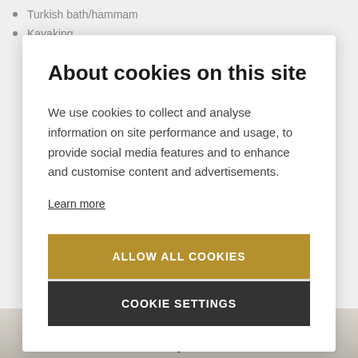Turkish bath/hammam
Kayaking
About cookies on this site
We use cookies to collect and analyse information on site performance and usage, to provide social media features and to enhance and customise content and advertisements.
Learn more
ALLOW ALL COOKIES
COOKIE SETTINGS
[Figure (photo): Bottom portion of a room photo visible behind modal]